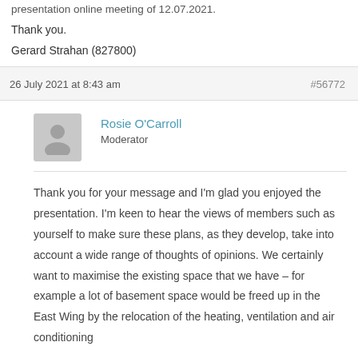presentation online meeting of 12.07.2021.
Thank you.
Gerard Strahan (827800)
26 July 2021 at 8:43 am
#56772
Rosie O'Carroll
Moderator
Thank you for your message and I'm glad you enjoyed the presentation. I'm keen to hear the views of members such as yourself to make sure these plans, as they develop, take into account a wide range of thoughts of opinions. We certainly want to maximise the existing space that we have – for example a lot of basement space would be freed up in the East Wing by the relocation of the heating, ventilation and air conditioning